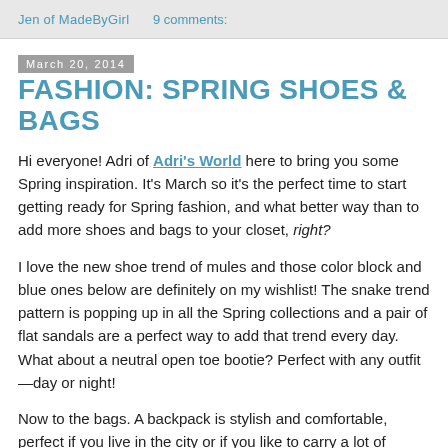Jen of MadeByGirl   9 comments:
March 20, 2014
FASHION: SPRING SHOES & BAGS
Hi everyone! Adri of Adri's World here to bring you some Spring inspiration. It's March so it's the perfect time to start getting ready for Spring fashion, and what better way than to add more shoes and bags to your closet, right?
I love the new shoe trend of mules and those color block and blue ones below are definitely on my wishlist! The snake trend pattern is popping up in all the Spring collections and a pair of flat sandals are a perfect way to add that trend every day. What about a neutral open toe bootie? Perfect with any outfit—day or night!
Now to the bags. A backpack is stylish and comfortable, perfect if you live in the city or if you like to carry a lot of things. A color block tote or clutch are a great way to add color and will match many colors and types of shoes.